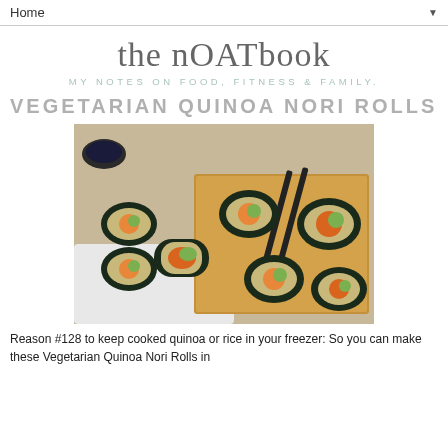Home ▼
the nOATbook
MY NOTES ON FOOD, FITNESS & FAMILY.
VEGETARIAN QUINOA NORI ROLLS
[Figure (photo): Photo of vegetarian quinoa nori rolls sliced open showing colorful vegetable fillings including avocado, red pepper, and carrot, arranged on a white plate and wooden cutting board with chopsticks]
Reason #128 to keep cooked quinoa or rice in your freezer: So you can make these Vegetarian Quinoa Nori Rolls in